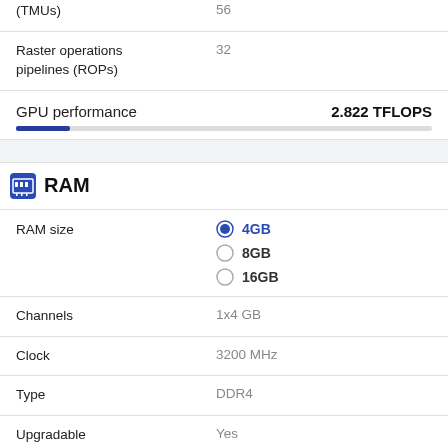| Property | Value |
| --- | --- |
| (TMUs) | 56 |
| Raster operations pipelines (ROPs) | 32 |
| GPU performance | 2.822 TFLOPS |
| RAM size | 4GB / 8GB / 16GB |
| Channels | 1x4 GB |
| Clock | 3200 MHz |
| Type | DDR4 |
| Upgradable | Yes |